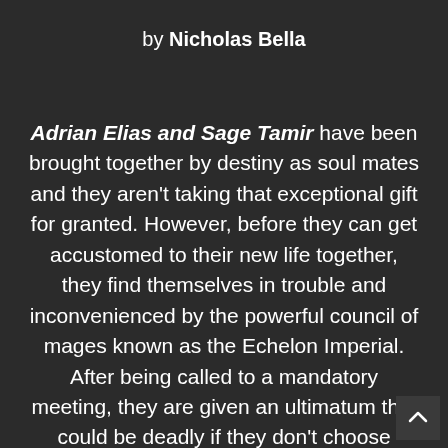by Nicholas Bella
Adrian Elias and Sage Tamir have been brought together by destiny as soul mates and they aren't taking that exceptional gift for granted. However, before they can get accustomed to their new life together, they find themselves in trouble and inconvenienced by the powerful council of mages known as the Echelon Imperial. After being called to a mandatory meeting, they are given an ultimatum that could be deadly if they don't choose wisely.